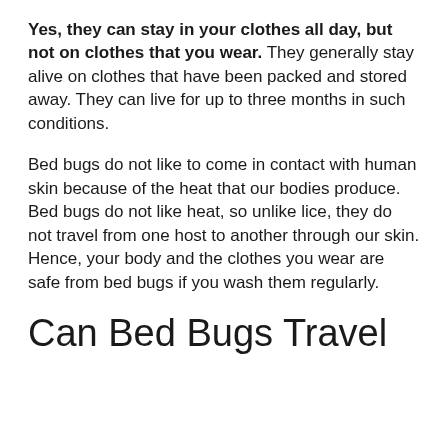Yes, they can stay in your clothes all day, but not on clothes that you wear. They generally stay alive on clothes that have been packed and stored away. They can live for up to three months in such conditions.
Bed bugs do not like to come in contact with human skin because of the heat that our bodies produce. Bed bugs do not like heat, so unlike lice, they do not travel from one host to another through our skin. Hence, your body and the clothes you wear are safe from bed bugs if you wash them regularly.
Can Bed Bugs Travel